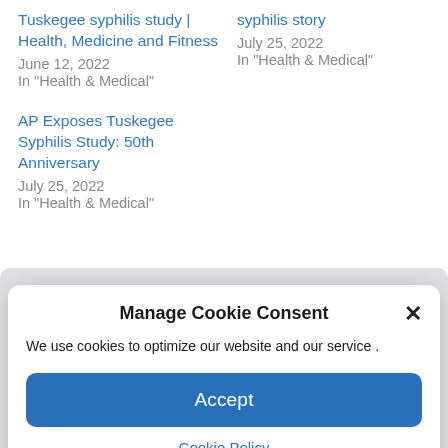Tuskegee syphilis study | Health, Medicine and Fitness
June 12, 2022
In "Health & Medical"
syphilis story
July 25, 2022
In "Health & Medical"
AP Exposes Tuskegee Syphilis Study: 50th Anniversary
July 25, 2022
In "Health & Medical"
Manage Cookie Consent
We use cookies to optimize our website and our service .
Accept
Cookie Policy